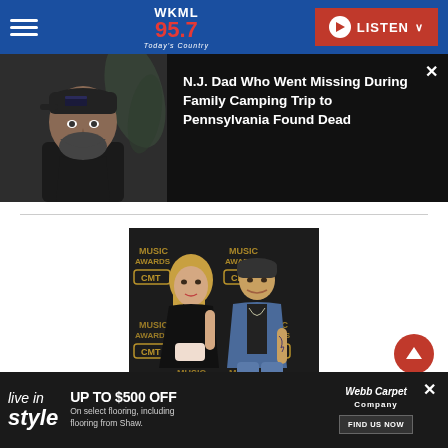WKML 95.7 Today's Country — LISTEN
[Figure (photo): Man in black cap and shirt with beard — news article thumbnail]
N.J. Dad Who Went Missing During Family Camping Trip to Pennsylvania Found Dead
[Figure (photo): Couple posing at CMT Music Awards backdrop — woman in black dress, man in denim jacket with tattoos]
[Figure (other): Advertisement: live in style — UP TO $500 OFF On select flooring, including flooring from Shaw. Webb Carpet Company FIND US NOW]